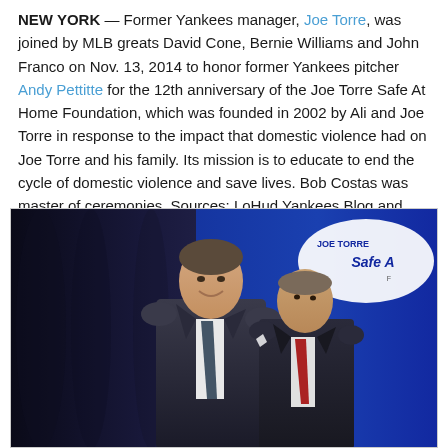NEW YORK — Former Yankees manager, Joe Torre, was joined by MLB greats David Cone, Bernie Williams and John Franco on Nov. 13, 2014 to honor former Yankees pitcher Andy Pettitte for the 12th anniversary of the Joe Torre Safe At Home Foundation, which was founded in 2002 by Ali and Joe Torre in response to the impact that domestic violence had on Joe Torre and his family. Its mission is to educate to end the cycle of domestic violence and save lives. Bob Costas was master of ceremonies. Sources: LoHud Yankees Blog and MLB.com.
[Figure (photo): Two men in dark suits standing together at the Joe Torre Safe At Home Foundation event, with a blue backdrop showing the Joe Torre Safe At Home Foundation logo/banner. The taller man on the left is smiling, wearing a dark suit with a dotted tie. The shorter man on the right is in a dark suit with a red tie.]